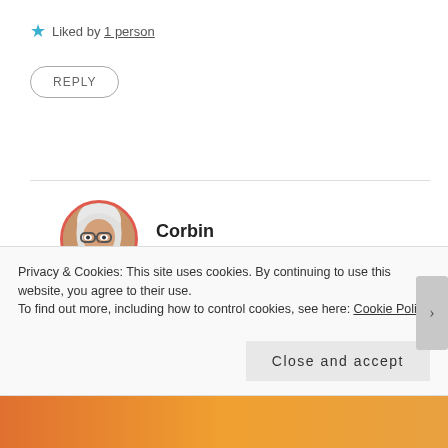★ Liked by 1 person
REPLY
Corbin
OCTOBER 16, 2014 AT 3:46 PM
Heather, I am so heartened that you enjoyed the article. Thank you so much for reaching out to me with your encouragment. I hope you won't be a stranger to islamwich.
Privacy & Cookies: This site uses cookies. By continuing to use this website, you agree to their use.
To find out more, including how to control cookies, see here: Cookie Policy
Close and accept